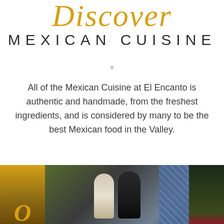Discover MEXICAN CUISINE
*
All of the Mexican Cuisine at El Encanto is authentic and handmade, from the freshest ingredients, and is considered by many to be the best Mexican food in the Valley.
MENUS
[Figure (photo): Photo strip at bottom showing people (a woman in white dress and a man in dark jacket) in front of a tiled background, flanked by golden/yellow panels on the left and green/dark foliage on the right, with a partial golden script letter visible]